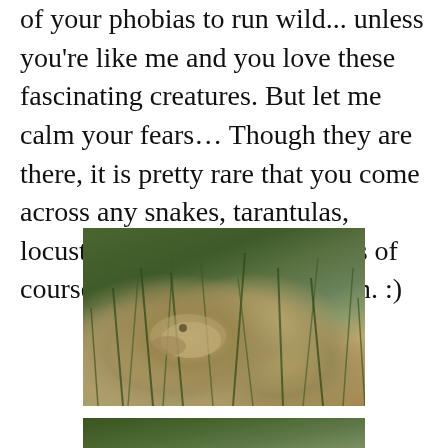of your phobias to run wild... unless you're like me and you love these fascinating creatures. But let me calm your fears… Though they are there, it is pretty rare that you come across any snakes, tarantulas, locusts, centipedes, etc., unless of course, you're looking for them. :)
[Figure (photo): Close-up photograph of a lizard or small reptile camouflaged among green grass and sandy/rocky ground, shot with shallow depth of field]
[Figure (photo): Partial view of another nature/wildlife photograph, cropped at bottom of page, showing green vegetation]